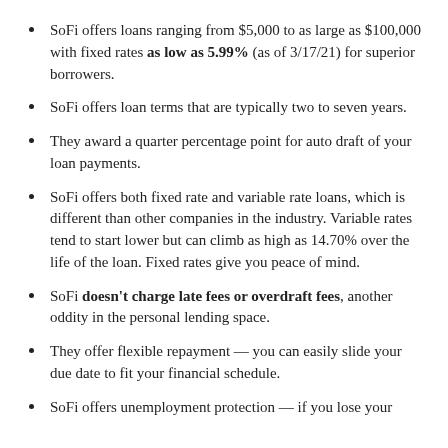SoFi offers loans ranging from $5,000 to as large as $100,000 with fixed rates as low as 5.99% (as of 3/17/21) for superior borrowers.
SoFi offers loan terms that are typically two to seven years.
They award a quarter percentage point for auto draft of your loan payments.
SoFi offers both fixed rate and variable rate loans, which is different than other companies in the industry. Variable rates tend to start lower but can climb as high as 14.70% over the life of the loan. Fixed rates give you peace of mind.
SoFi doesn't charge late fees or overdraft fees, another oddity in the personal lending space.
They offer flexible repayment — you can easily slide your due date to fit your financial schedule.
SoFi offers unemployment protection — if you lose your